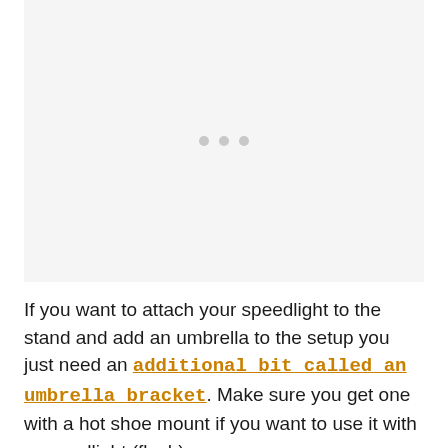[Figure (photo): Placeholder image area with light gray background and three small gray dots centered, indicating an image loading or placeholder state.]
If you want to attach your speedlight to the stand and add an umbrella to the setup you just need an additional bit called an umbrella bracket. Make sure you get one with a hot shoe mount if you want to use it with a speedlight (flash).